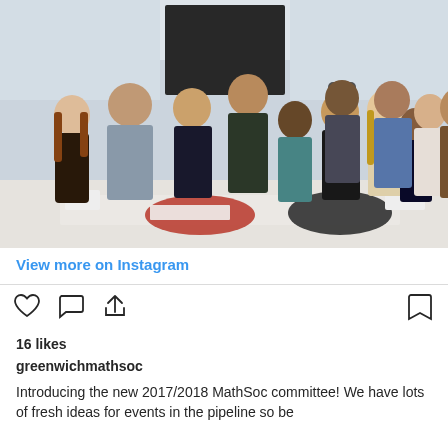[Figure (photo): Group photo of approximately 12 people (the 2017/2018 MathSoc committee) standing together in a room with white chairs and a table in the foreground with bags and papers on it.]
View more on Instagram
16 likes
greenwichmathsoc
Introducing the new 2017/2018 MathSoc committee! We have lots of fresh ideas for events in the pipeline so be